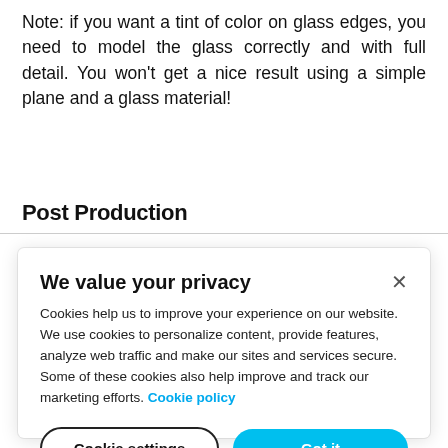Note: if you want a tint of color on glass edges, you need to model the glass correctly and with full detail. You won't get a nice result using a simple plane and a glass material!
Post Production
[Figure (screenshot): Cookie consent banner overlay with title 'We value your privacy', descriptive text about cookies, a 'Cookie policy' link, and two buttons: 'Cookie settings' and 'Got it'.]